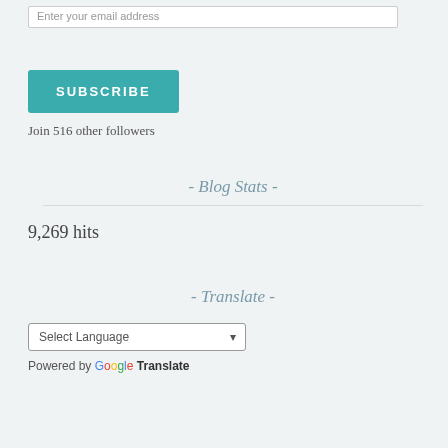Enter your email address
SUBSCRIBE
Join 516 other followers
- Blog Stats -
9,269 hits
- Translate -
Select Language
Powered by Google Translate